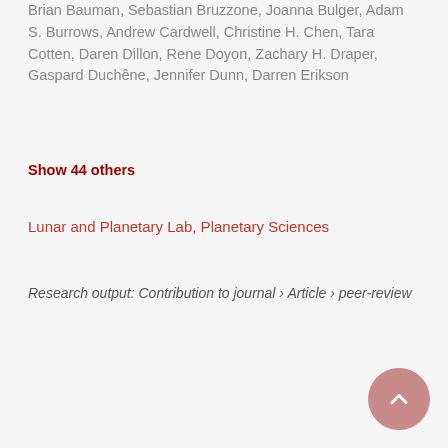Brian Bauman, Sebastian Bruzzone, Joanna Bulger, Adam S. Burrows, Andrew Cardwell, Christine H. Chen, Tara Cotten, Daren Dillon, Rene Doyon, Zachary H. Draper, Gaspard Duchêne, Jennifer Dunn, Darren Erikson
Show 44 others
Lunar and Planetary Lab, Planetary Sciences
Research output: Contribution to journal › Article › peer-review
[Figure (infographic): Scopus citation count badge showing the number 50 in large dark red text with 'Scopus citations' label below]